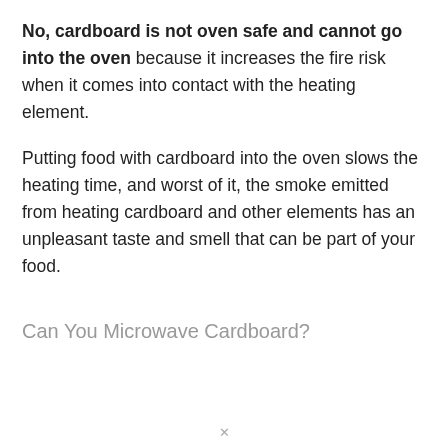No, cardboard is not oven safe and cannot go into the oven because it increases the fire risk when it comes into contact with the heating element.
Putting food with cardboard into the oven slows the heating time, and worst of it, the smoke emitted from heating cardboard and other elements has an unpleasant taste and smell that can be part of your food.
Can You Microwave Cardboard?